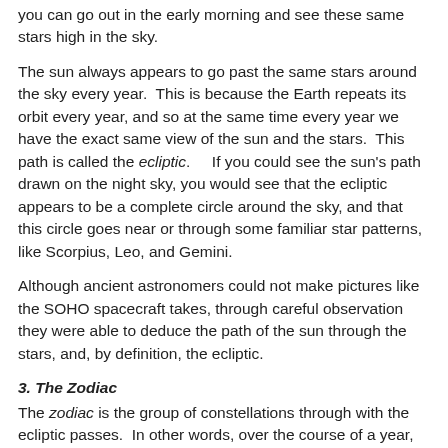you can go out in the early morning and see these same stars high in the sky.
The sun always appears to go past the same stars around the sky every year.  This is because the Earth repeats its orbit every year, and so at the same time every year we have the exact same view of the sun and the stars.  This path is called the ecliptic.    If you could see the sun's path drawn on the night sky, you would see that the ecliptic appears to be a complete circle around the sky, and that this circle goes near or through some familiar star patterns, like Scorpius, Leo, and Gemini.
Although ancient astronomers could not make pictures like the SOHO spacecraft takes, through careful observation they were able to deduce the path of the sun through the stars, and, by definition, the ecliptic.
3. The Zodiac
The zodiac is the group of constellations through with the ecliptic passes.  In other words, over the course of a year, the sun passes through all of these constellations. Traditionally, the constellations along the ecliptic are called the